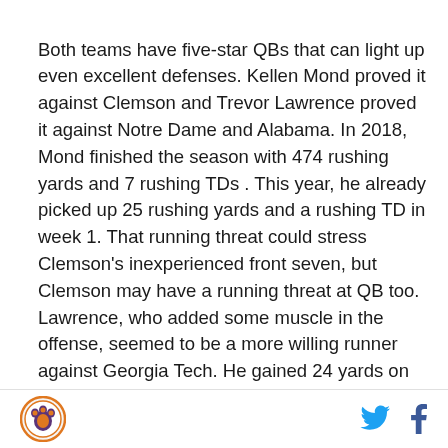Both teams have five-star QBs that can light up even excellent defenses. Kellen Mond proved it against Clemson and Trevor Lawrence proved it against Notre Dame and Alabama. In 2018, Mond finished the season with 474 rushing yards and 7 rushing TDs . This year, he already picked up 25 rushing yards and a rushing TD in week 1. That running threat could stress Clemson's inexperienced front seven, but Clemson may have a running threat at QB too. Lawrence, who added some muscle in the offense, seemed to be a more willing runner against Georgia Tech. He gained 24 yards on the ground and had a great rushing TD on a zone read in the red zone:
Logo | Twitter | Facebook